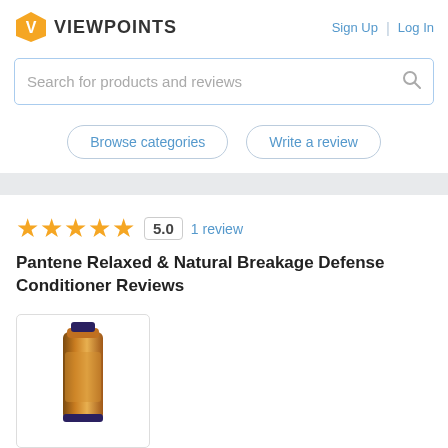[Figure (logo): Viewpoints logo: yellow speech-bubble icon with V, next to bold VIEWPOINTS text]
Sign Up | Log In
Search for products and reviews
Browse categories
Write a review
★★★★★ 5.0 1 review
Pantene Relaxed & Natural Breakage Defense Conditioner Reviews
[Figure (photo): Photo of Pantene Relaxed & Natural Breakage Defense Conditioner tube, gold/bronze colored]
Other Hair Conditioners: Average: 4.3 | High: 5.0
Type: Conditioner for Dry Hair